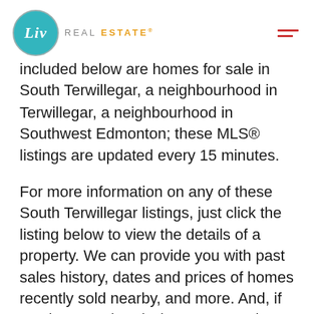[Figure (logo): Liv Real Estate logo with teal circle containing 'Liv' in white italic text, followed by 'REAL ESTATE' in grey and gold uppercase letters]
included below are homes for sale in South Terwillegar, a neighbourhood in Southwest Edmonton; these MLS® listings are updated every 15 minutes.
For more information on any of these South Terwillegar listings, just click the listing below to view the details of a property. We can provide you with past sales history, dates and prices of homes recently sold nearby, and more. And, if you haven't already, be sure to register for a free account so that you can receive email alerts whenever new